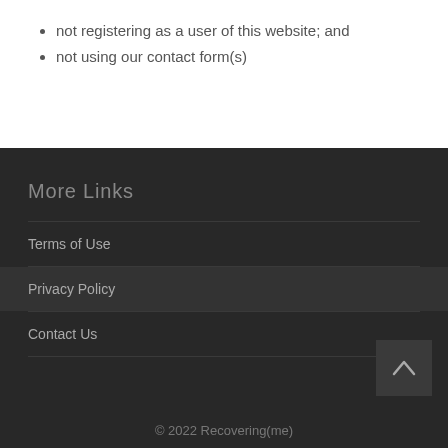not registering as a user of this website; and
not using our contact form(s)
More Links
Terms of Use
Privacy Policy
Contact Us
© 2022 Recovering(me)